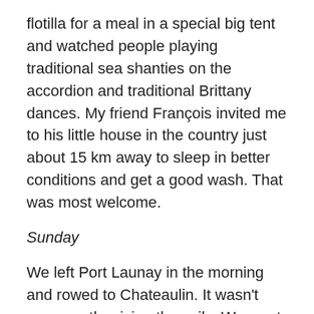flotilla for a meal in a special big tent and watched people playing traditional sea shanties on the accordion and traditional Brittany dances. My friend François invited me to his little house in the country just about 15 km away to sleep in better conditions and get a good wash. That was most welcome.
Sunday
We left Port Launay in the morning and rowed to Chateaulin. It wasn't even worth raising the sails. We went through the lock and I lowered my mast for the two low bridges. We all had a picnic lunch at the campsite and rowed back to Port Launay. There was a slight tail breeze, and I got a few freebies by raising the jib only. In the afternoon came the sad moment of going for our trailers and taking our boats out of the water. There was only to